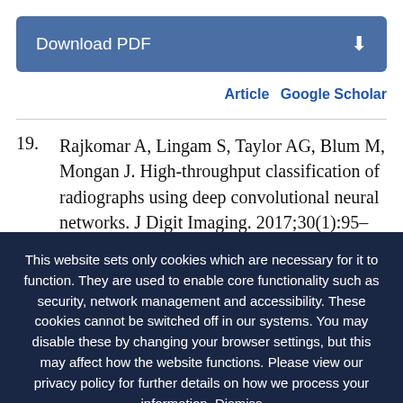[Figure (other): Download PDF button with blue background and download icon]
Article  Google Scholar
19. Rajkomar A, Lingam S, Taylor AG, Blum M, Mongan J. High-throughput classification of radiographs using deep convolutional neural networks. J Digit Imaging. 2017;30(1):95–101
This website sets only cookies which are necessary for it to function. They are used to enable core functionality such as security, network management and accessibility. These cookies cannot be switched off in our systems. You may disable these by changing your browser settings, but this may affect how the website functions. Please view our privacy policy for further details on how we process your information. Dismiss